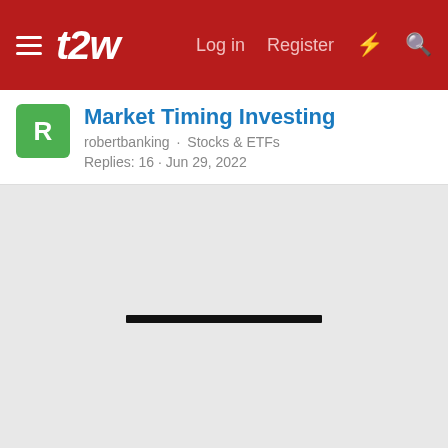t2w — Log in | Register
Market Timing Investing
robertbanking · Stocks & ETFs
Replies: 16 · Jun 29, 2022